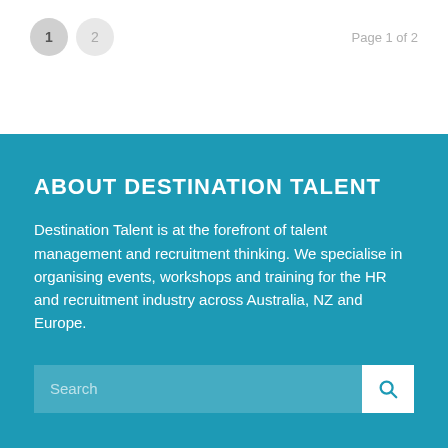Page 1 of 2
ABOUT DESTINATION TALENT
Destination Talent is at the forefront of talent management and recruitment thinking. We specialise in organising events, workshops and training for the HR and recruitment industry across Australia, NZ and Europe.